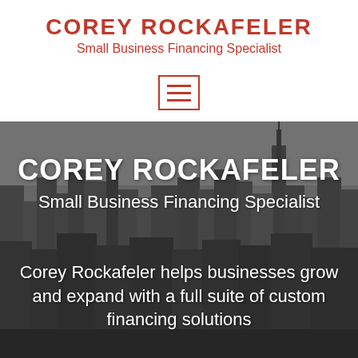COREY ROCKAFELER
Small Business Financing Specialist
[Figure (other): Menu/hamburger icon inside a red rectangle border]
[Figure (photo): Black and white aerial cityscape/skyline photo, likely New York City, with skyscrapers and buildings]
COREY ROCKAFELER
Small Business Financing Specialist
Corey Rockafeler helps businesses grow and expand with a full suite of custom financing solutions